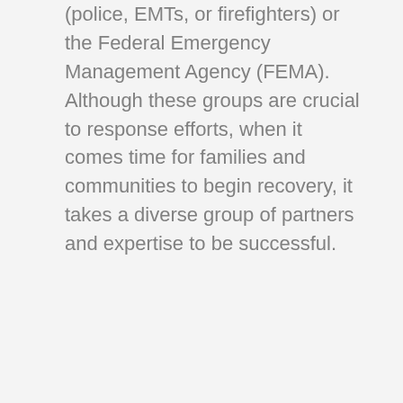(police, EMTs, or firefighters) or the Federal Emergency Management Agency (FEMA). Although these groups are crucial to response efforts, when it comes time for families and communities to begin recovery, it takes a diverse group of partners and expertise to be successful.